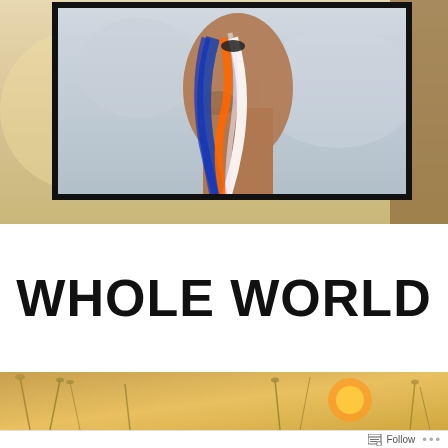[Figure (photo): A person holding a blue, white, and orange braided rope/toy, with a warm golden outdoor background and grass. A framed inner photo shows the close-up of the item being held.]
WHOLE WORLD
[Figure (photo): Golden-toned outdoor scene with tall grass stalks and a warm glowing light/sun in the background.]
Follow ...